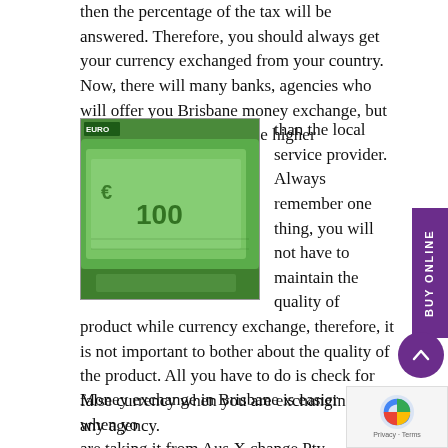then the percentage of the tax will be answered. Therefore, you should always get your currency exchanged from your country. Now, there will many banks, agencies who will offer you Brisbane money exchange, but their rates will definitely be higher than the local service provider. Always remember one thing, you will not have to maintain the quality of product while currency exchange, therefore, it is not important to bother about the quality of the product. All you have to do is check for false currency when you are exchanging from any agency.
[Figure (photo): Photo of Euro banknotes including a 100 Euro bill, green colored currency notes spread out]
Money exchange in Brisbane is easier when you are taking it from Aus X change Pty Ltd as they provide you with the best rate in the market. Therefore, if you have any plan to take a trip you